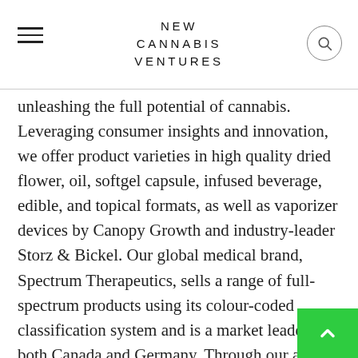NEW CANNABIS VENTURES
unleashing the full potential of cannabis. Leveraging consumer insights and innovation, we offer product varieties in high quality dried flower, oil, softgel capsule, infused beverage, edible, and topical formats, as well as vaporizer devices by Canopy Growth and industry-leader Storz & Bickel. Our global medical brand, Spectrum Therapeutics, sells a range of full-spectrum products using its colour-coded classification system and is a market leader in both Canada and Germany. Through our award-winning Tweed and Tokyo Smoke banners, we reach our adult-use consumers and have built a